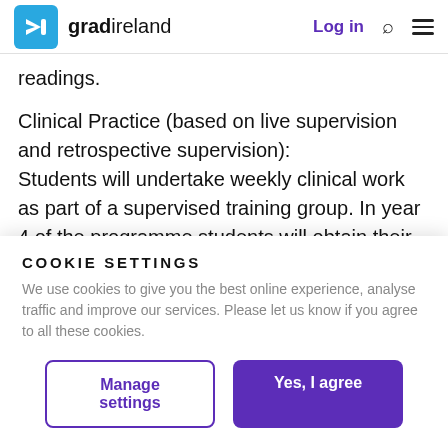gradireland – Log in
readings.
Clinical Practice (based on live supervision and retrospective supervision):
Students will undertake weekly clinical work as part of a supervised training group. In year 4 of the programme students will obtain their clinical practice outside of the training context and will
COOKIE SETTINGS
We use cookies to give you the best online experience, analyse traffic and improve our services. Please let us know if you agree to all these cookies.
Manage settings | Yes, I agree